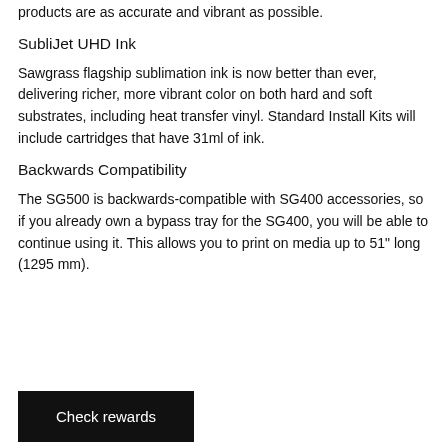products are as accurate and vibrant as possible.
SubliJet UHD Ink
Sawgrass flagship sublimation ink is now better than ever, delivering richer, more vibrant color on both hard and soft substrates, including heat transfer vinyl. Standard Install Kits will include cartridges that have 31ml of ink.
Backwards Compatibility
The SG500 is backwards-compatible with SG400 accessories, so if you already own a bypass tray for the SG400, you will be able to continue using it. This allows you to print on media up to 51" long (1295 mm).
Check rewards